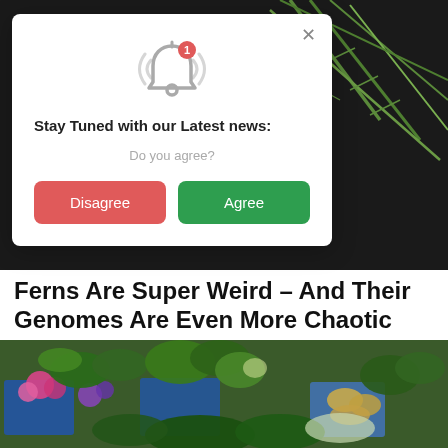[Figure (screenshot): Browser notification permission modal dialog with a bell icon, 'Stay Tuned with our Latest news:' title, 'Do you agree?' subtitle, and Disagree/Agree buttons]
[Figure (photo): Dark background with green rosemary herb sprigs visible behind the modal]
Ferns Are Super Weird – And Their Genomes Are Even More Chaotic Than We Thought
[Figure (photo): Market stall with colorful vegetables, flowers, and leafy greens in blue crates]